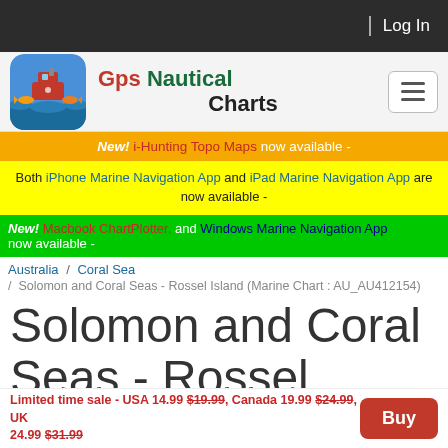Log In
[Figure (logo): GPS Nautical Charts app logo with ship and fish]
Gps Nautical Charts
New! i-Hunting Topo Maps now available -
Both iPhone Marine Navigation App and iPad Marine Navigation App are now available -
New! Macbook ChartPlotter, and Windows Marine Navigation App now available -
Australia / Coral Sea / Solomon and Coral Seas - Rossel Island (Marine Chart : AU_AU412154)
Solomon and Coral Seas - Rossel Island (Marine Chart :
Limited time sale - USA 14.99 $19.99, Canada 19.99 $24.99, UK 24.99 $31.99